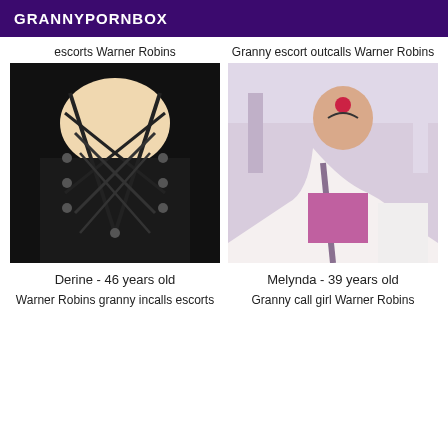GRANNYPORNBOX
escorts Warner Robins
[Figure (photo): Close-up photo of a person in a black lace-up corset style top]
Derine - 46 years old
Granny escort outcalls Warner Robins
[Figure (photo): Photo of a woman with dark braided hair wearing a white top and pink skirt]
Melynda - 39 years old
Warner Robins granny incalls escorts
Granny call girl Warner Robins